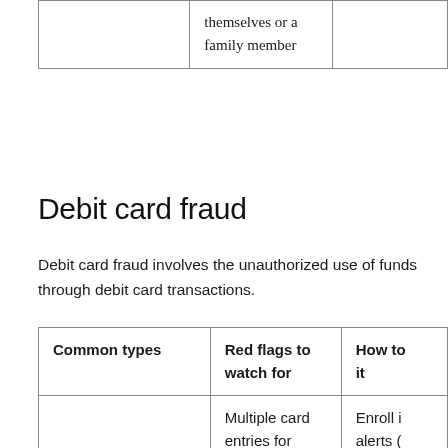|  |  |  |
| --- | --- | --- |
|  | themselves or a family member |  |
Debit card fraud
Debit card fraud involves the unauthorized use of funds through debit card transactions.
| Common types | Red flags to watch for | How to it |
| --- | --- | --- |
|  | Multiple card entries for high-dollar orders | Enroll i alerts ( Ameripi |